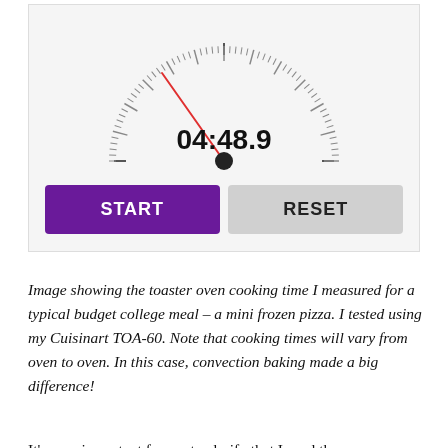[Figure (screenshot): Screenshot of a stopwatch app showing time 04:48.9, with a semicircular analog dial showing tick marks and a red hand, and two buttons below: START (purple) and RESET (gray).]
Image showing the toaster oven cooking time I measured for a typical budget college meal – a mini frozen pizza. I tested using my Cuisinart TOA-60. Note that cooking times will vary from oven to oven. In this case, convection baking made a big difference!
It's very important for me to clarify that I used the